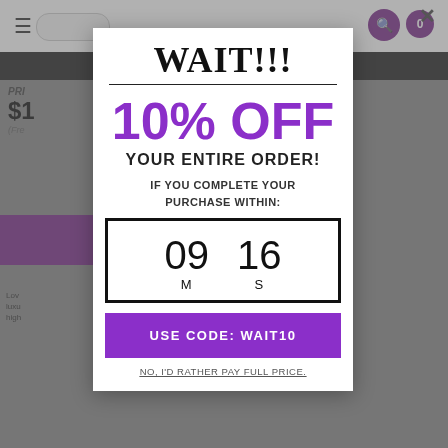WAIT!!!
10% OFF
YOUR ENTIRE ORDER!
IF YOU COMPLETE YOUR PURCHASE WITHIN:
09 M  16 S
USE CODE: WAIT10
NO, I'D RATHER PAY FULL PRICE.